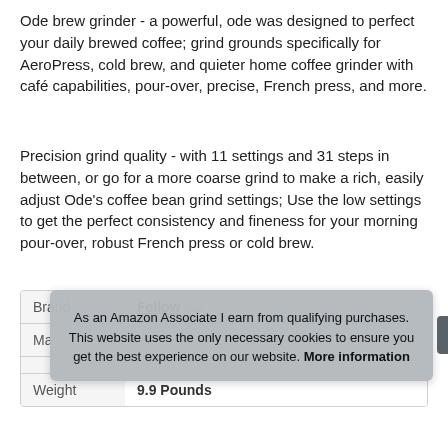Ode brew grinder - a powerful, ode was designed to perfect your daily brewed coffee; grind grounds specifically for AeroPress, cold brew, and quieter home coffee grinder with café capabilities, pour-over, precise, French press, and more.
Precision grind quality - with 11 settings and 31 steps in between, or go for a more coarse grind to make a rich, easily adjust Ode's coffee bean grind settings; Use the low settings to get the perfect consistency and fineness for your morning pour-over, robust French press or cold brew.
|  |  |
| --- | --- |
| Brand | Fellow #ad |
| Ma |  |
| Weight | 9.9 Pounds |
As an Amazon Associate I earn from qualifying purchases. This website uses the only necessary cookies to ensure you get the best experience on our website. More information